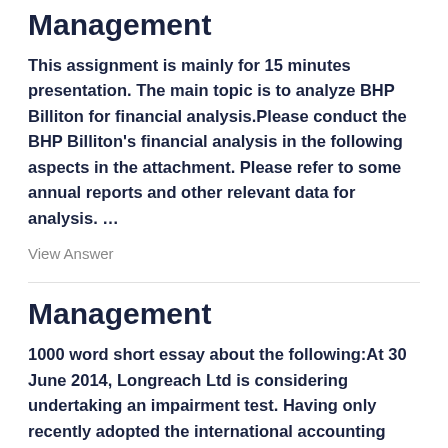Management
This assignment is mainly for 15 minutes presentation. The main topic is to analyze BHP Billiton for financial analysis.Please conduct the BHP Billiton's financial analysis in the following aspects in the attachment. Please refer to some annual reports and other relevant data for analysis. …
View Answer
Management
1000 word short essay about the following:At 30 June 2014, Longreach Ltd is considering undertaking an impairment test. Having only recently adopted the international accounting standards, the management of Longreach Ltd seeks your advice in relation to this test under AASB 136 Impairment of Assets. …
View Answer